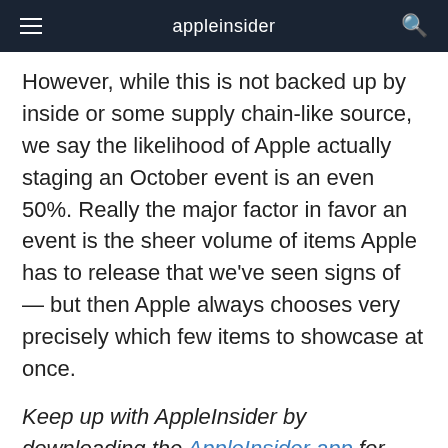appleinsider
However, while this is not backed up by inside or some supply chain-like source, we say the likelihood of Apple actually staging an October event is an even 50%. Really the major factor in favor an event is the sheer volume of items Apple has to release that we've seen signs of — but then Apple always chooses very precisely which few items to showcase at once.
Keep up with AppleInsider by downloading the AppleInsider app for iOS, and follow us on YouTube, Twitter @appleinsider and Facebook for live, late-breaking coverage. You can also check out our official Instagram account for